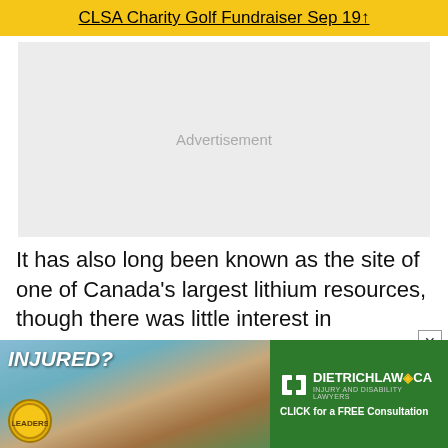CLSA Charity Golf Fundraiser Sep 19↑
[Figure (other): Advertisement placeholder box with light gray background]
It has also long been known as the site of one of Canada's largest lithium resources, though there was little interest in developing a lithium industry in Albert
[Figure (other): Banner advertisement for DietrichLaw.ca — Injury and Disability Lawyers. Shows 'INJURED?' text over image of dog and baby underwater, green panel with Dietrich Law logo and 'CLICK for a FREE Consultation']